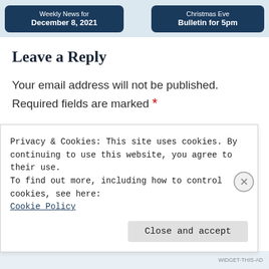[Figure (screenshot): Navigation buttons at top: 'Weekly News for December 8, 2021' (left, dark blue) and 'Christmas Eve Bulletin for 5pm' (right, dark blue) on a light blue background]
Leave a Reply
Your email address will not be published. Required fields are marked *
Comment *
[Figure (screenshot): Comment text area input box, empty, with grey border]
Privacy & Cookies: This site uses cookies. By continuing to use this website, you agree to their use.
To find out more, including how to control cookies, see here:
Cookie Policy
Close and accept